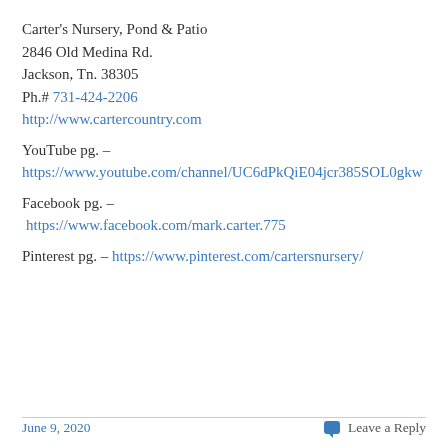Carter's Nursery, Pond & Patio
2846 Old Medina Rd.
Jackson, Tn. 38305
Ph.# 731-424-2206
http://www.cartercountry.com
YouTube pg. –
https://www.youtube.com/channel/UC6dPkQiE04jcr385SOL0gkw
Facebook pg. –
https://www.facebook.com/mark.carter.775
Pinterest pg. – https://www.pinterest.com/cartersnursery/
June 9, 2020   Leave a Reply